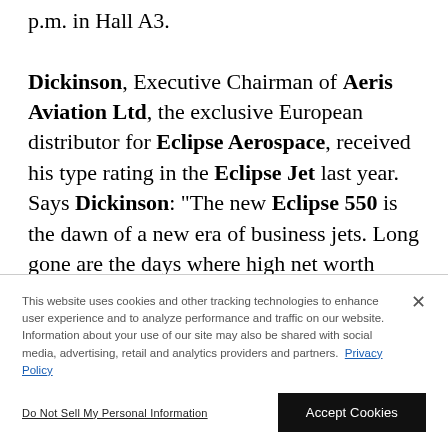p.m. in Hall A3. Dickinson, Executive Chairman of Aeris Aviation Ltd, the exclusive European distributor for Eclipse Aerospace, received his type rating in the Eclipse Jet last year. Says Dickinson: "The new Eclipse 550 is the dawn of a new era of business jets. Long gone are the days where high net worth individuals and companies are happy
This website uses cookies and other tracking technologies to enhance user experience and to analyze performance and traffic on our website. Information about your use of our site may also be shared with social media, advertising, retail and analytics providers and partners. Privacy Policy
Do Not Sell My Personal Information
Accept Cookies